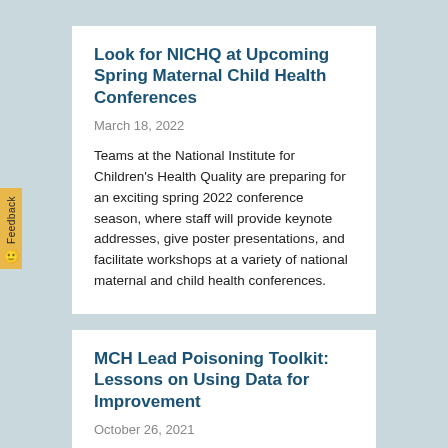Look for NICHQ at Upcoming Spring Maternal Child Health Conferences
March 18, 2022
Teams at the National Institute for Children's Health Quality are preparing for an exciting spring 2022 conference season, where staff will provide keynote addresses, give poster presentations, and facilitate workshops at a variety of national maternal and child health conferences.
MCH Lead Poisoning Toolkit: Lessons on Using Data for Improvement
October 26, 2021